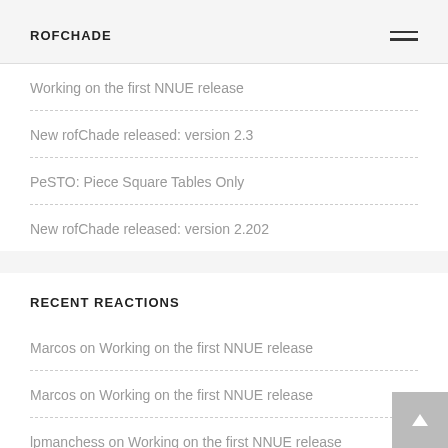ROFCHADE
Working on the first NNUE release
New rofChade released: version 2.3
PeSTO: Piece Square Tables Only
New rofChade released: version 2.202
RECENT REACTIONS
Marcos on Working on the first NNUE release
Marcos on Working on the first NNUE release
lpmanchess on Working on the first NNUE release